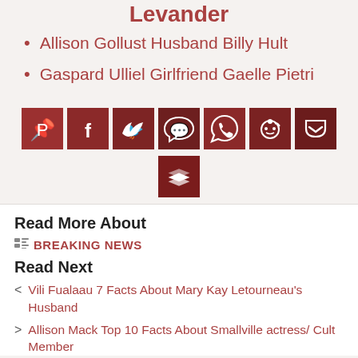Levander
Allison Gollust Husband Billy Hult
Gaspard Ulliel Girlfriend Gaelle Pietri
[Figure (infographic): Row of 7 social media share buttons (Pinterest, Facebook, Twitter, Messenger, WhatsApp, Reddit, Pocket) in dark red/burgundy squares, plus a second row with one Buffer/layers button centered below.]
Read More About
BREAKING NEWS
Read Next
Vili Fualaau 7 Facts About Mary Kay Letourneau's Husband
Allison Mack Top 10 Facts About Smallville actress/ Cult Member